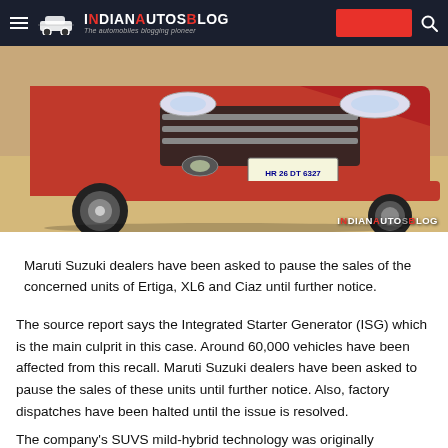IndianAutosBlog — The automobiles blogging pioneer
[Figure (photo): Front view of a red Maruti Suzuki Ertiga car with license plate HR 26 DT 6327, photographed outdoors on sandy ground. IndianAutosBlog watermark in bottom right.]
Maruti Suzuki dealers have been asked to pause the sales of the concerned units of Ertiga, XL6 and Ciaz until further notice.
The source report says the Integrated Starter Generator (ISG) which is the main culprit in this case. Around 60,000 vehicles have been affected from this recall. Maruti Suzuki dealers have been asked to pause the sales of these units until further notice. Also, factory dispatches have been halted until the issue is resolved.
The company's SUVS mild-hybrid technology was originally